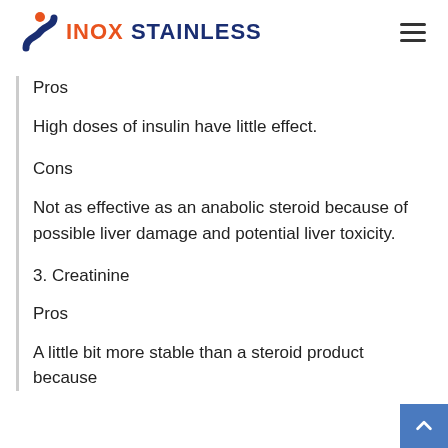INOX STAINLESS
Pros
High doses of insulin have little effect.
Cons
Not as effective as an anabolic steroid because of possible liver damage and potential liver toxicity.
3. Creatinine
Pros
A little bit more stable than a steroid product because